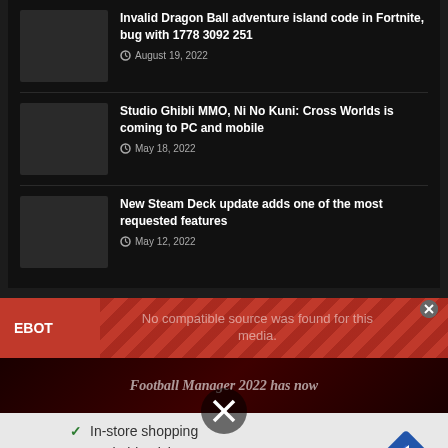Invalid Dragon Ball adventure island code in Fortnite, bug with 1778 3092 251 — August 19, 2022
Studio Ghibli MMO, Ni No Kuni: Cross Worlds is coming to PC and mobile — May 18, 2022
New Steam Deck update adds one of the most requested features — May 12, 2022
[Figure (screenshot): EBOT branded media player showing error message: No compatible source was found for this media. Below is a partially visible video thumbnail with text 'Football Manager 2022 has now']
[Figure (infographic): Advertisement showing checklist: In-store shopping, Curbside pickup, Delivery. Navigation arrow icon on right. Play and close buttons on lower left.]